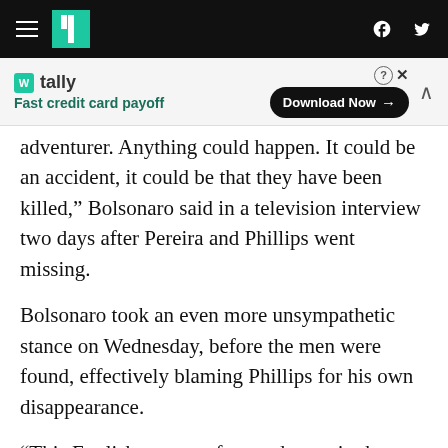HuffPost navigation bar with hamburger menu, logo, Facebook and Twitter icons
[Figure (infographic): Tally advertisement banner: 'Fast credit card payoff' with Download Now button]
adventurer. Anything could happen. It could be an accident, it could be that they have been killed," Bolsonaro said in a television interview two days after Pereira and Phillips went missing.
Bolsonaro took an even more unsympathetic stance on Wednesday, before the men were found, effectively blaming Phillips for his own disappearance.
“This Englishman was frowned upon in the region because he did a lot of reporting against garimpeiros,” Bolsonaro said, referring to the